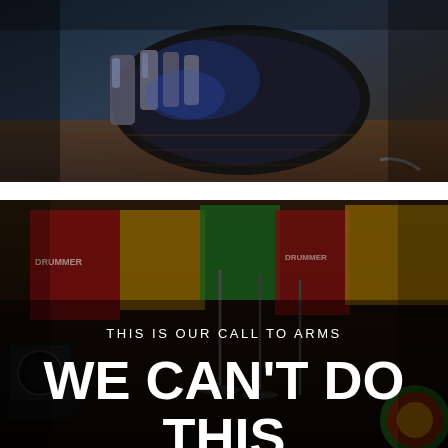[Figure (photo): Close-up photo of a robotic or mechanical hand gripping a dark electric guitar body, with blue tinted lighting and a wooden stage floor visible in the background.]
[Figure (photo): Dark photo of a reggae/music venue stage setup with colorful flags (red, yellow, green) and banners reading 'DRUMMER' visible in the background, microphone stands and amplifiers in the foreground. Text overlaid: 'THIS IS OUR CALL TO ARMS' and 'WE CAN'T DO THIS WITHOUT YOU'.]
THIS IS OUR CALL TO ARMS
WE CAN'T DO THIS WITHOUT YOU